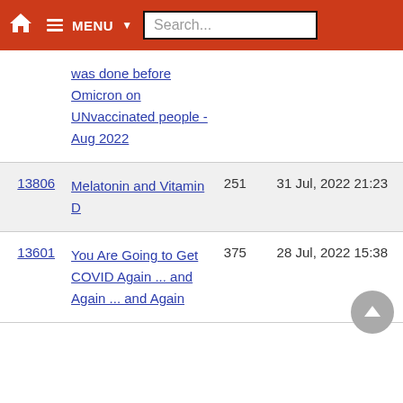MENU Search...
was done before Omicron on UNvaccinated people - Aug 2022
13806  Melatonin and Vitamin D  251  31 Jul, 2022 21:23
13601  You Are Going to Get COVID Again ... and Again ... and Again  375  28 Jul, 2022 15:38